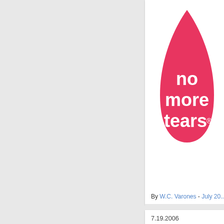[Figure (logo): No More Tears logo — a red/pink teardrop shape with white text reading 'no more tears®' inside it]
By W.C. Varones - July 20...
7.19.2006
Frigid German... unsolicited Bus...